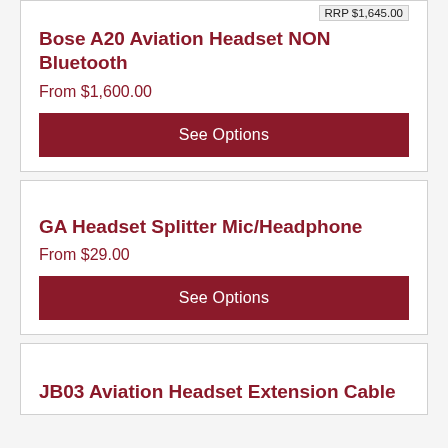RRP $1,645.00
Bose A20 Aviation Headset NON Bluetooth
From $1,600.00
See Options
GA Headset Splitter Mic/Headphone
From $29.00
See Options
JB03 Aviation Headset Extension Cable